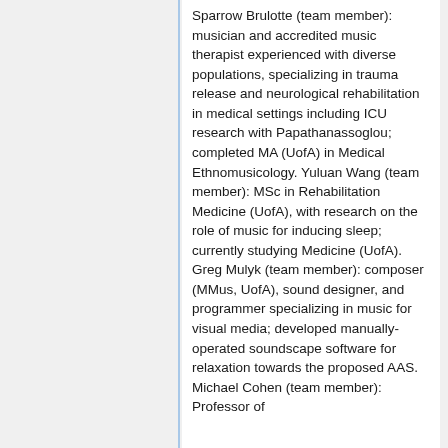Sparrow Brulotte (team member): musician and accredited music therapist experienced with diverse populations, specializing in trauma release and neurological rehabilitation in medical settings including ICU research with Papathanassoglou; completed MA (UofA) in Medical Ethnomusicology. Yuluan Wang (team member): MSc in Rehabilitation Medicine (UofA), with research on the role of music for inducing sleep; currently studying Medicine (UofA). Greg Mulyk (team member): composer (MMus, UofA), sound designer, and programmer specializing in music for visual media; developed manually-operated soundscape software for relaxation towards the proposed AAS. Michael Cohen (team member): Professor of